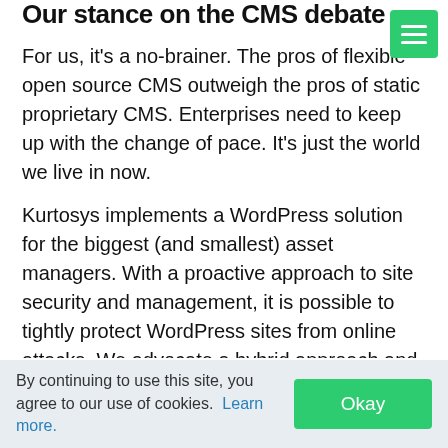Our stance on the CMS debate
For us, it’s a no-brainer. The pros of flexible open source CMS outweigh the pros of static proprietary CMS. Enterprises need to keep up with the change of pace. It’s just the world we live in now.
Kurtosys implements a WordPress solution for the biggest (and smallest) asset managers. With a proactive approach to site security and management, it is possible to tightly protect WordPress sites from online attacks. We advocate a hybrid approach and provide security attaining bank-grade quality
By continuing to use this site, you agree to our use of cookies. Learn more.